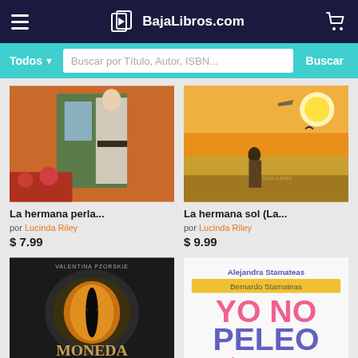BajaLibros.com
Buscar por Título, Autor, ISBN...
[Figure (illustration): Book cover: La hermana perla - woman in period dress by a window with red flowers]
La hermana perla...
por Lucinda Riley
$ 7.99
[Figure (illustration): Book cover: La hermana sol - woman walking in golden field at sunset with airplane and bird]
La hermana sol (La...
por Lucinda Riley
$ 9.99
[Figure (illustration): Book cover: Moneda - Metamorfosis El Comienzo by Valentina Pzorskie, dark cover with cat eye]
[Figure (illustration): Book cover: Yo No Peleo Tú No Peleas by Alejandra Stamateas and Bernardo Stamateas, pink and purple text on white background]